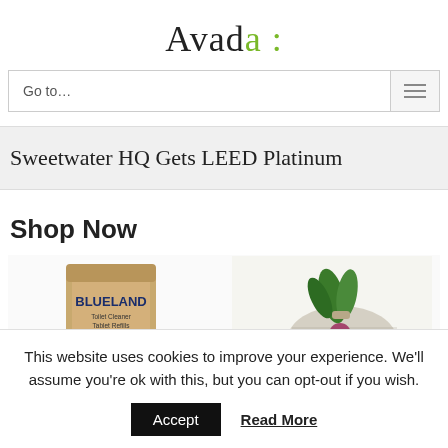Avada :
Go to...
Sweetwater HQ Gets LEED Platinum
Shop Now
[Figure (photo): Product images: Blueland Toilet Cleaner Tablet Refills bag with purple item, and a mesh bag with vegetables/groceries]
This website uses cookies to improve your experience. We'll assume you're ok with this, but you can opt-out if you wish.
Accept   Read More